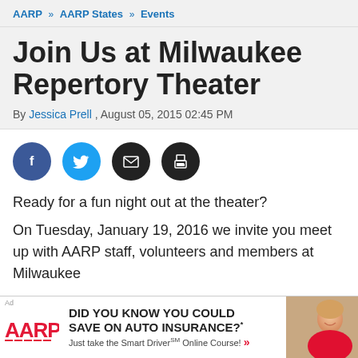AARP » AARP States » Events
Join Us at Milwaukee Repertory Theater
By Jessica Prell , August 05, 2015 02:45 PM
[Figure (infographic): Four social sharing buttons: Facebook (blue circle with f icon), Twitter (light blue circle with bird icon), Email (black circle with envelope icon), Print (black circle with printer icon)]
Ready for a fun night out at the theater?
On Tuesday, January 19, 2016 we invite you meet up with AARP staff, volunteers and members at Milwaukee
[Figure (infographic): AARP advertisement banner: DID YOU KNOW YOU COULD SAVE ON AUTO INSURANCE?* Just take the Smart Driver Online Course! with AARP logo and photo of woman in car]